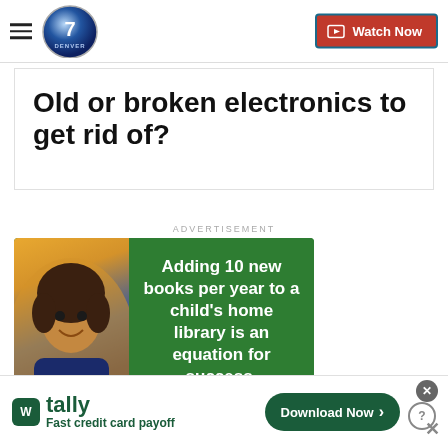[Figure (logo): Denver 7 ABC news logo with hamburger menu and Watch Now button]
Old or broken electronics to get rid of?
ADVERTISEMENT
[Figure (photo): Advertisement banner: smiling girl with curly hair next to green panel reading 'Adding 10 new books per year to a child's home library is an equation for success.']
[Figure (screenshot): Bottom ad banner: Tally app - 'Fast credit card payoff' with Download Now button]